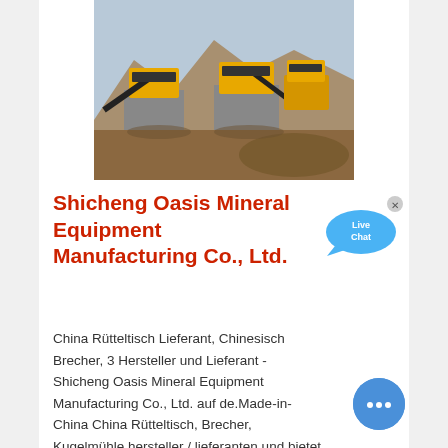[Figure (photo): Outdoor photo of yellow mining/crushing machinery equipment on a rocky quarry site with mountains in the background]
Shicheng Oasis Mineral Equipment Manufacturing Co., Ltd.
China Rütteltisch Lieferant, Chinesisch Brecher, 3 Hersteller und Lieferant - Shicheng Oasis Mineral Equipment Manufacturing Co., Ltd. auf de.Made-in-China China Rütteltisch, Brecher, Kugelmühle hersteller / lieferanten und bietet qualität ...